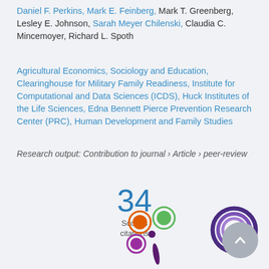Daniel F. Perkins, Mark E. Feinberg, Mark T. Greenberg, Lesley E. Johnson, Sarah Meyer Chilenski, Claudia C. Mincemoyer, Richard L. Spoth
Agricultural Economics, Sociology and Education, Clearinghouse for Military Family Readiness, Institute for Computational and Data Sciences (ICDS), Huck Institutes of the Life Sciences, Edna Bennett Pierce Prevention Research Center (PRC), Human Development and Family Studies
Research output: Contribution to journal › Article › peer-review
34 Scopus citations
[Figure (infographic): Altmetric flower badge with orange, green, and purple colored petals on a dark purple stem, alongside a circular donut-style badge showing the number 3 in purple/violet rings, and a grey circular scroll-to-top button with an upward chevron arrow.]